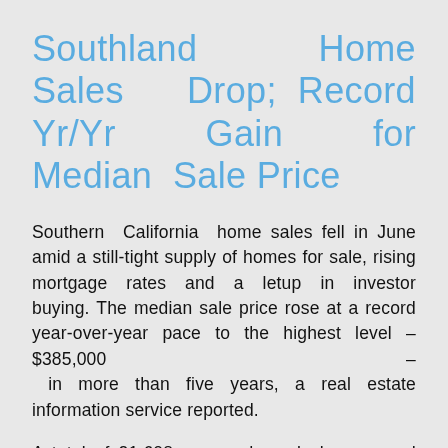Southland Home Sales Drop; Record Yr/Yr Gain for Median Sale Price
Southern California home sales fell in June amid a still-tight supply of homes for sale, rising mortgage rates and a letup in investor buying. The median sale price rose at a record year-over-year pace to the highest level – $385,000 – in more than five years, a real estate information service reported.
A total of 21,608 new and resale houses and condos sold in Los Angeles, Riverside, San Diego, Ventura, San Bernardino and Orange counties last month. That was down 6.2 percent from